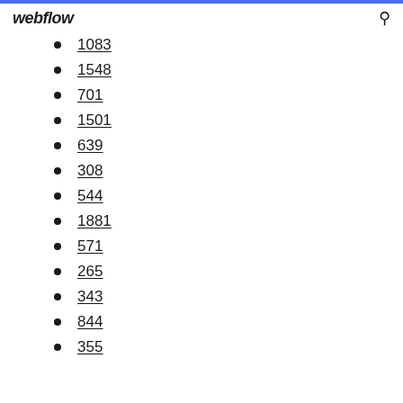webflow
1083
1548
701
1501
639
308
544
1881
571
265
343
844
355